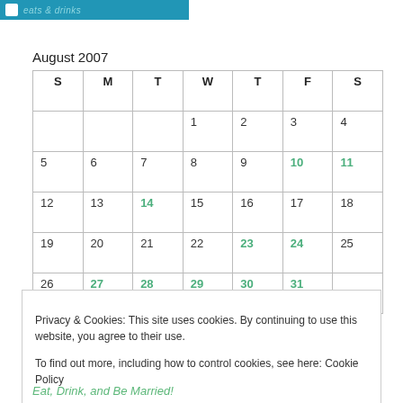[Figure (logo): Blue banner logo bar with icon and italic text]
August 2007
| S | M | T | W | T | F | S |
| --- | --- | --- | --- | --- | --- | --- |
|  |  |  | 1 | 2 | 3 | 4 |
| 5 | 6 | 7 | 8 | 9 | 10 | 11 |
| 12 | 13 | 14 | 15 | 16 | 17 | 18 |
| 19 | 20 | 21 | 22 | 23 | 24 | 25 |
| 26 | 27 | 28 | 29 | 30 | 31 |  |
Privacy & Cookies: This site uses cookies. By continuing to use this website, you agree to their use.
To find out more, including how to control cookies, see here: Cookie Policy
Close and accept
Eat, Drink, and Be Married!